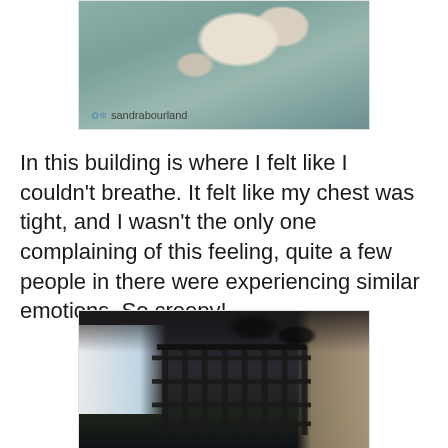[Figure (photo): Photo of a building interior with peeling teal/turquoise paint, watermarked with 'sandrabourland']
In this building is where I felt like I couldn't breathe. It felt like my chest was tight, and I wasn't the only one complaining of this feeling, quite a few people in there were experiencing similar emotions. So creepy!
[Figure (photo): Photo of an abandoned building interior showing iron bars/gate with deteriorating ceiling, taken from a low angle with a bright window on the left]